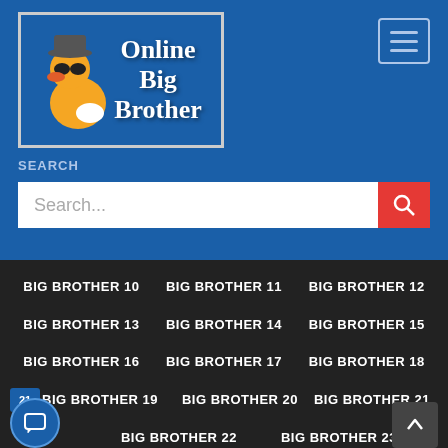[Figure (logo): Online Big Brother website logo with rubber duck wearing sunglasses and hat]
SEARCH
Search...
BIG BROTHER 10
BIG BROTHER 11
BIG BROTHER 12
BIG BROTHER 13
BIG BROTHER 14
BIG BROTHER 15
BIG BROTHER 16
BIG BROTHER 17
BIG BROTHER 18
BIG BROTHER 19
BIG BROTHER 20
BIG BROTHER 21
BIG BROTHER 22
BIG BROTHER 23